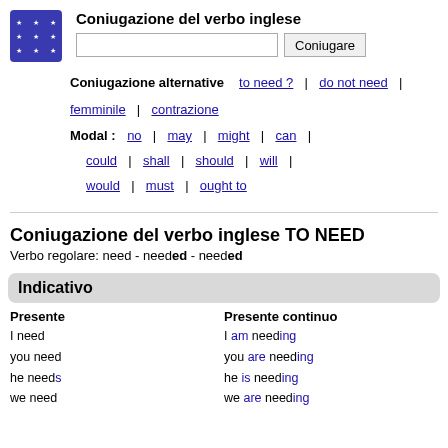[Figure (logo): Blue square logo with white stars arranged in a grid pattern]
Coniugazione del verbo inglese
Coniugazione alternative | to need ? | do not need | femminile | contrazione
Modal : no | may | might | can | could | shall | should | will | would | must | ought to
Coniugazione del verbo inglese TO NEED
Verbo regolare: need - needed - needed
Indicativo
Presente
I need
you need
he needs
we need
Presente continuo
I am needing
you are needing
he is needing
we are needing